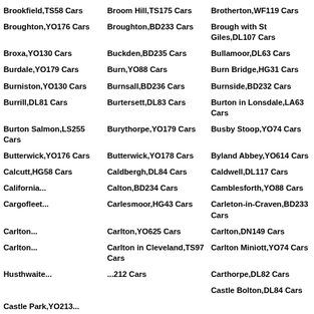Brookfield,TS58 Cars
Broom Hill,TS175 Cars
Brotherton,WF119 Cars
Broughton,YO176 Cars
Broughton,BD233 Cars
Brough with St Giles,DL107 Cars
Broxa,YO130 Cars
Buckden,BD235 Cars
Bullamoor,DL63 Cars
Burdale,YO179 Cars
Burn,YO88 Cars
Burn Bridge,HG31 Cars
Burniston,YO130 Cars
Burnsall,BD236 Cars
Burnside,BD232 Cars
Burrill,DL81 Cars
Burtersett,DL83 Cars
Burton in Lonsdale,LA63 Cars
Burton Salmon,LS255 Cars
Burythorpe,YO179 Cars
Busby Stoop,YO74 Cars
Butterwick,YO176 Cars
Butterwick,YO178 Cars
Byland Abbey,YO614 Cars
Calcutt,HG58 Cars
Caldbergh,DL84 Cars
Caldwell,DL117 Cars
Califo[rnia...]
Calton,BD234 Cars
Camblesforth,YO88 Cars
Cargo[fleet...]
Carlesmoor,HG43 Cars
Carleton-in-Craven,BD233 Cars
Carlton[...]
Carlton,YO625 Cars
Carlton,DN149 Cars
Carlton[...]
Carlton in Cleveland,TS97 Cars
Carlton Miniott,YO74 Cars
Husth[waite...]
[...]212 Cars
Carthorpe,DL82 Cars
Castle Bolton,DL84 Cars
Castle Park,YO213...